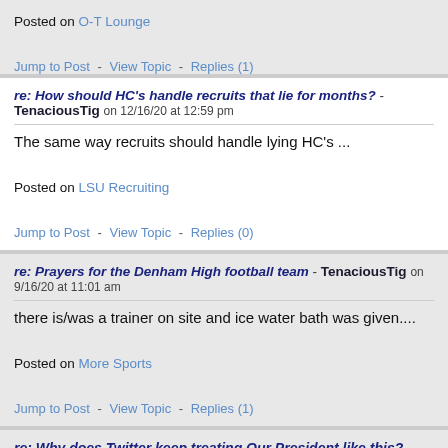Posted on O-T Lounge
Jump to Post  -  View Topic  -  Replies (1)
re: How should HC's handle recruits that lie for months? - TenaciousTig on 12/16/20 at 12:59 pm
The same way recruits should handle lying HC's ...
Posted on LSU Recruiting
Jump to Post  -  View Topic  -  Replies (0)
re: Prayers for the Denham High football team - TenaciousTig on 9/16/20 at 11:01 am
there is/was a trainer on site and ice water bath was given....
Posted on More Sports
Jump to Post  -  View Topic  -  Replies (1)
re: Why does Twitter keep treating Our President like this?